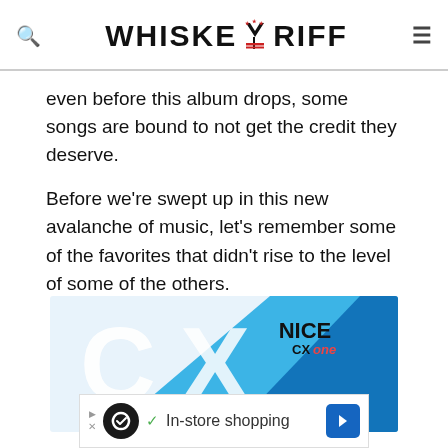WHISKEY RIFF (logo with icon)
even before this album drops, some songs are bound to not get the credit they deserve.
Before we're swept up in this new avalanche of music, let's remember some of the favorites that didn't rise to the level of some of the others.
[Figure (advertisement): NICE CXone advertisement banner with large CX letters in blue and text 'Deliver winning']
[Figure (advertisement): Bottom banner ad with circular icon, checkmark, 'In-store shopping' text and blue arrow button]